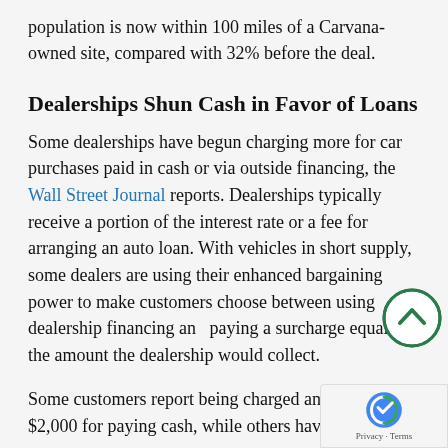population is now within 100 miles of a Carvana-owned site, compared with 32% before the deal.
Dealerships Shun Cash in Favor of Loans
Some dealerships have begun charging more for car purchases paid in cash or via outside financing, the Wall Street Journal reports. Dealerships typically receive a portion of the interest rate or a fee for arranging an auto loan. With vehicles in short supply, some dealers are using their enhanced bargaining power to make customers choose between using dealership financing and paying a surcharge equal to the amount the dealership would collect.
Some customers report being charged an additional $2,000 for paying cash, while others have